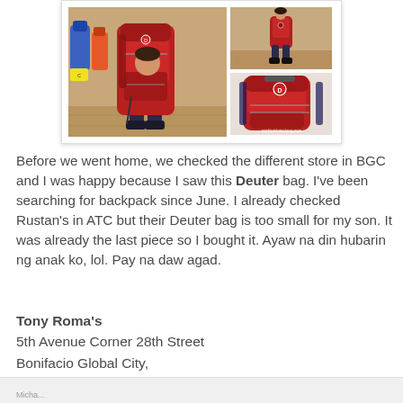[Figure (photo): Collage of three photos: a child wearing a large red Deuter backpack in a store (left, main), a full-body shot of the child with the backpack (top right), and a close-up of the red Deuter backpack alone (bottom right, with watermark michipinlateslong.com)]
Before we went home, we checked the different store in BGC and I was happy because I saw this Deuter bag. I've been searching for backpack since June. I already checked Rustan's in ATC but their Deuter bag is too small for my son. It was already the last piece so I bought it. Ayaw na din hubarin ng anak ko, lol. Pay na daw agad.
Tony Roma's
5th Avenue Corner 28th Street
Bonifacio Global City,
Taguig City 1634